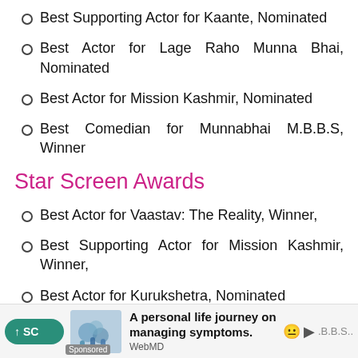Best Supporting Actor for Kaante, Nominated
Best Actor for Lage Raho Munna Bhai, Nominated
Best Actor for Mission Kashmir, Nominated
Best Comedian for Munnabhai M.B.B.S, Winner
Star Screen Awards
Best Actor for Vaastav: The Reality, Winner,
Best Supporting Actor for Mission Kashmir, Winner,
Best Actor for Kurukshetra, Nominated
Best Supporting Actor for Musafir, Nominated